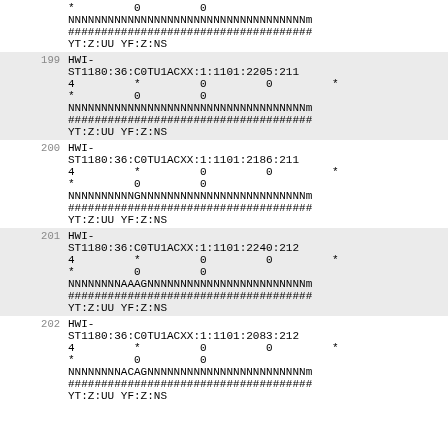*         0         0
NNNNNNNNNNNNNNNNNNNNNNNNNNNNNNNNNNNNN
#####################################
YT:Z:UU YF:Z:NS
199  HWI-ST1180:36:C0TU1ACXX:1:1101:2205:211
4         *         0         0         *
*         0         0
NNNNNNNNNNNNNNNNNNNNNNNNNNNNNNNNNNNNN
#####################################
YT:Z:UU YF:Z:NS
200  HWI-ST1180:36:C0TU1ACXX:1:1101:2186:211
4         *         0         0         *
*         0         0
NNNNNNNNNNGNNNNNNNNNNNNNNNNNNNNNNNNNN
#####################################
YT:Z:UU YF:Z:NS
201  HWI-ST1180:36:C0TU1ACXX:1:1101:2240:212
4         *         0         0         *
*         0         0
NNNNNNNNAAAGNNNNNNNNNNNNNNNNNNNNNNNNN
#####################################
YT:Z:UU YF:Z:NS
202  HWI-ST1180:36:C0TU1ACXX:1:1101:2083:212
4         *         0         0         *
*         0         0
NNNNNNNNACAGNNNNNNNNNNNNNNNNNNNNNNNNN
#####################################
YT:Z:UU YF:Z:NS